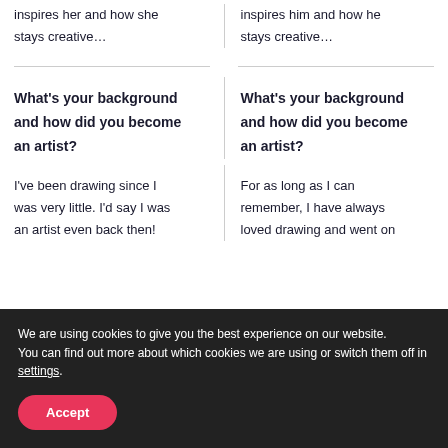inspires her and how she stays creative…
inspires him and how he stays creative…
What's your background and how did you become an artist?
What's your background and how did you become an artist?
I've been drawing since I was very little. I'd say I was an artist even back then!
For as long as I can remember, I have always loved drawing and went on
We are using cookies to give you the best experience on our website.
You can find out more about which cookies we are using or switch them off in settings.
Accept